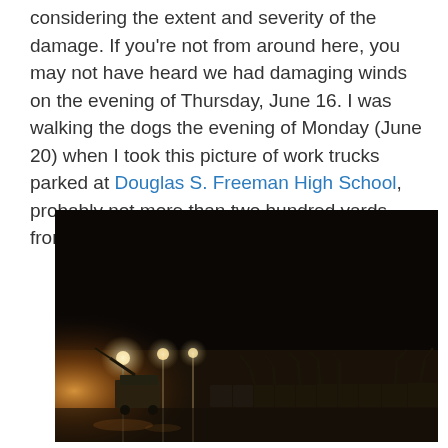considering the extent and severity of the damage. If you're not from around here, you may not have heard we had damaging winds on the evening of Thursday, June 16. I was walking the dogs the evening of Monday (June 20) when I took this picture of work trucks parked at Douglas S. Freeman High School, probably not more than two hundred yards from my house:
[Figure (photo): Nighttime photo of a large parking lot at Douglas S. Freeman High School with many utility/work trucks and bucket trucks parked in a row, illuminated by street lights against a dark sky.]